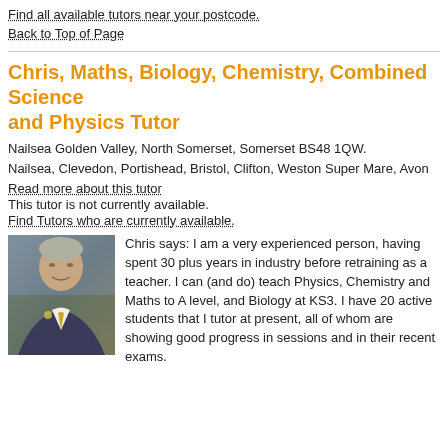Find all available tutors near your postcode.
Back to Top of Page
Chris, Maths, Biology, Chemistry, Combined Science and Physics Tutor
Nailsea Golden Valley, North Somerset, Somerset BS48 1QW.
Nailsea, Clevedon, Portishead, Bristol, Clifton, Weston Super Mare, Avon
Read more about this tutor
This tutor is not currently available.
Find Tutors who are currently available.
[Figure (photo): Photo of Chris, a middle-aged man in a suit with a yellow tie]
Chris says: I am a very experienced person, having spent 30 plus years in industry before retraining as a teacher. I can (and do) teach Physics, Chemistry and Maths to A level, and Biology at KS3. I have 20 active students that I tutor at present, all of whom are showing good progress in sessions and in their recent exams.